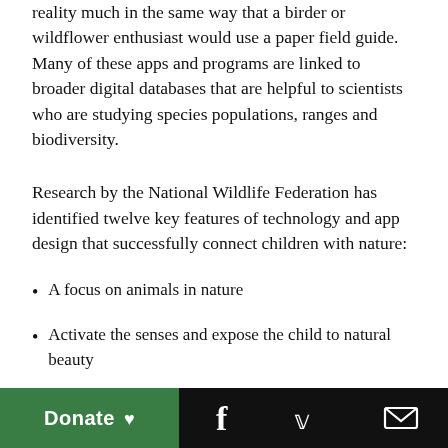reality much in the same way that a birder or wildflower enthusiast would use a paper field guide. Many of these apps and programs are linked to broader digital databases that are helpful to scientists who are studying species populations, ranges and biodiversity.
Research by the National Wildlife Federation has identified twelve key features of technology and app design that successfully connect children with nature:
A focus on animals in nature
Activate the senses and expose the child to natural beauty
Create perceptions of nature safety